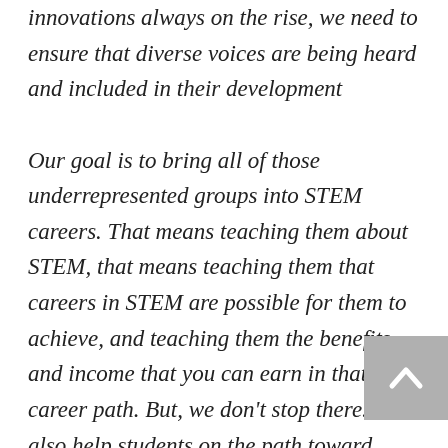innovations always on the rise, we need to ensure that diverse voices are being heard and included in their development Our goal is to bring all of those underrepresented groups into STEM careers. That means teaching them about STEM, that means teaching them that careers in STEM are possible for them to achieve, and teaching them the benefits and income that you can earn in that career path. But, we don't stop there. We also help students on the path toward those careers by teaching them skills and hosting fun activities that build awareness.